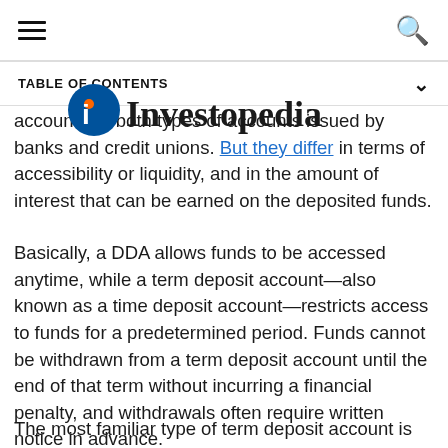TABLE OF CONTENTS
account are both types of accounts issued by banks and credit unions. But they differ in terms of accessibility or liquidity, and in the amount of interest that can be earned on the deposited funds.
Basically, a DDA allows funds to be accessed anytime, while a term deposit account—also known as a time deposit account—restricts access to funds for a predetermined period. Funds cannot be withdrawn from a term deposit account until the end of that term without incurring a financial penalty, and withdrawals often require written notice in advance.
The most familiar type of term deposit account is the